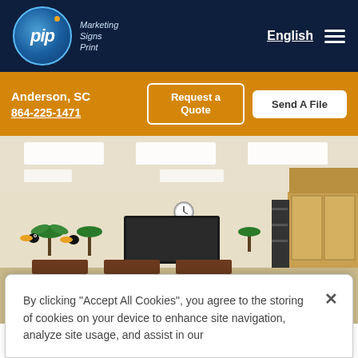PIP Marketing Signs Print — English — Hamburger menu
Anderson, SC
864-225-1471
Request a Quote
Send A File
[Figure (photo): Interior of a classroom with rows of dark-wood student desks and attached seats, a large flat-screen TV/board at front, colorful toucan and palm tree wall decorations, fluorescent ceiling lights, and storage cabinets on the right side. Cardboard boxes are visible in the foreground.]
By clicking “Accept All Cookies”, you agree to the storing of cookies on your device to enhance site navigation, analyze site usage, and assist in our